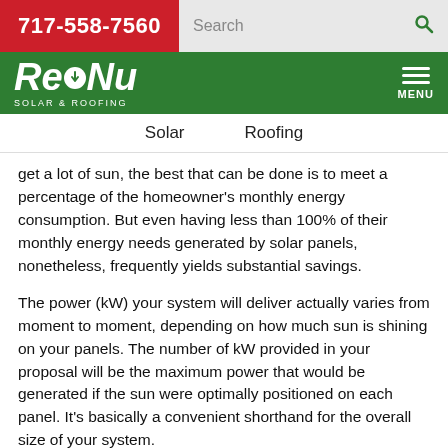717-558-7560
[Figure (logo): ReNu Solar & Roofing logo — white italic text on green background]
Solar   Roofing
get a lot of sun, the best that can be done is to meet a percentage of the homeowner's monthly energy consumption. But even having less than 100% of their monthly energy needs generated by solar panels, nonetheless, frequently yields substantial savings.
The power (kW) your system will deliver actually varies from moment to moment, depending on how much sun is shining on your panels. The number of kW provided in your proposal will be the maximum power that would be generated if the sun were optimally positioned on each panel. It's basically a convenient shorthand for the overall size of your system.
Determining the maximum power your system can produce is also a fairly simple matter. All you have to do is multiply the